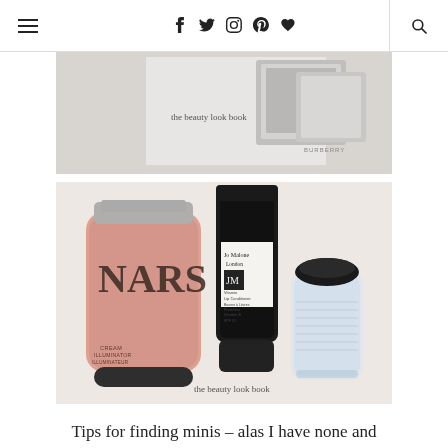Navigation bar with hamburger menu, social icons (f, twitter, instagram, pinterest, heart), and search icon
[Figure (photo): Beauty product photo showing Burberry cosmetic packaging with silver/metallic case on white background, watermarked 'the beauty look book']
[Figure (photo): Beauty product photo showing NARS Cream Illuminator tube (peach/coral), Jo Malone London Vitamin E Lip Conditioner, and a small clear bottle, watermarked 'the beauty look book']
Tips for finding minis – alas I have none and